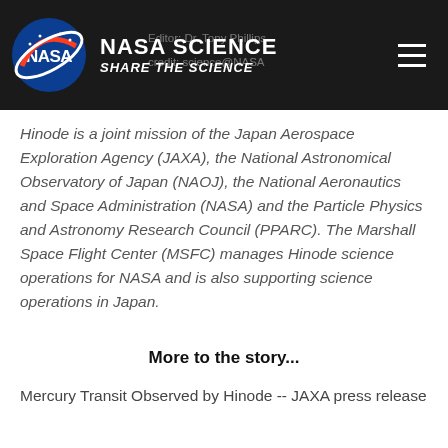NASA SCIENCE SHARE THE SCIENCE | Editor: Dr. Tony Phillips | credit: science@NASA
Hinode is a joint mission of the Japan Aerospace Exploration Agency (JAXA), the National Astronomical Observatory of Japan (NAOJ), the National Aeronautics and Space Administration (NASA) and the Particle Physics and Astronomy Research Council (PPARC). The Marshall Space Flight Center (MSFC) manages Hinode science operations for NASA and is also supporting science operations in Japan.
More to the story...
Mercury Transit Observed by Hinode -- JAXA press release